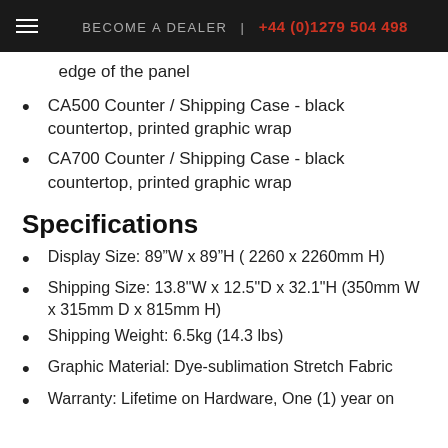BECOME A DEALER | +44 (0)1279 504 498
edge of the panel
CA500 Counter / Shipping Case - black countertop, printed graphic wrap
CA700 Counter / Shipping Case - black countertop, printed graphic wrap
Specifications
Display Size: 89”W x 89”H ( 2260 x 2260mm H)
Shipping Size: 13.8"W x 12.5"D x 32.1"H (350mm W x 315mm D x 815mm H)
Shipping Weight: 6.5kg (14.3 lbs)
Graphic Material: Dye-sublimation Stretch Fabric
Warranty: Lifetime on Hardware, One (1) year on